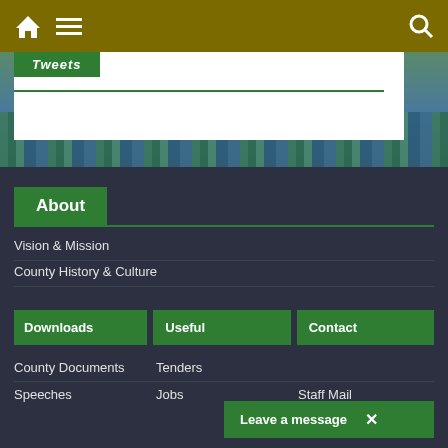Navigation bar with home, menu, and search icons
[Figure (screenshot): City aerial view hero image with white content box overlay, green tab labeled Tweets, and green underline]
About
Vision & Mission
County History & Culture
Downloads
Useful
Contact
County Documents
Tenders
Speeches
Jobs
Staff Mail
Leave a message